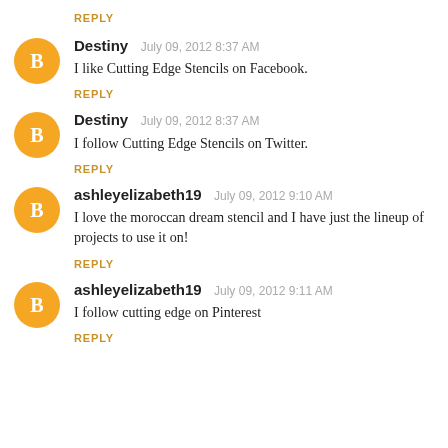REPLY
Destiny  July 09, 2012 8:37 AM
I like Cutting Edge Stencils on Facebook.
REPLY
Destiny  July 09, 2012 8:37 AM
I follow Cutting Edge Stencils on Twitter.
REPLY
ashleyelizabeth19  July 09, 2012 9:10 AM
I love the moroccan dream stencil and I have just the lineup of projects to use it on!
REPLY
ashleyelizabeth19  July 09, 2012 9:11 AM
I follow cutting edge on Pinterest
REPLY